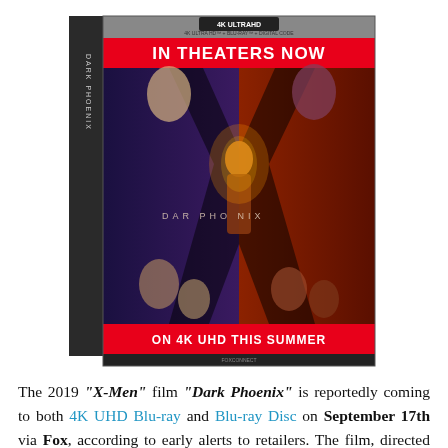[Figure (photo): Dark Phoenix 4K Ultra HD Blu-ray box art showing a promotional cover with 'IN THEATERS NOW' red banner at top, 'ON 4K UHD THIS SUMMER' red banner at bottom, and the X-Men Dark Phoenix movie art featuring a female character surrounded by fire and other X-Men characters. The box shows '4K ULTRA HD + BLU-RAY + DIGITAL CODE' text and the 4K UltraHD logo.]
The 2019 "X-Men" film "Dark Phoenix" is reportedly coming to both 4K UHD Blu-ray and Blu-ray Disc on September 17th via Fox, according to early alerts to retailers. The film, directed by Simon Kinberg, features a cast comprised of James McAvoy, Michael Fassbender, Jennifer Lawrence